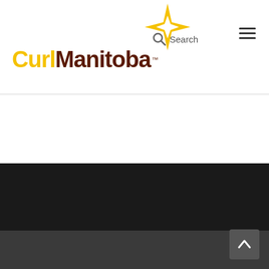[Figure (logo): CurlManitoba logo with gold star/compass icon and text 'Curl' in yellow and 'Manitoba' in dark brown with TM mark]
Search [search icon] [hamburger menu icon]
[Figure (screenshot): Dark footer area and bottom gray strip with back-to-top arrow button]